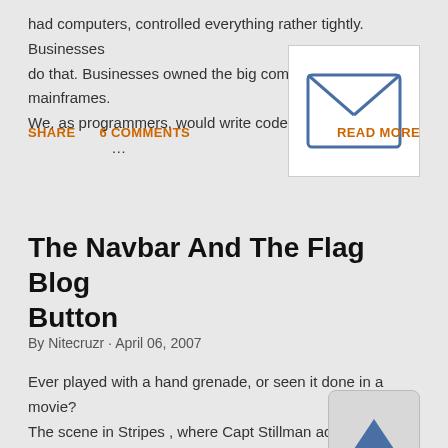had computers, controlled everything rather tightly. Businesses do that. Businesses owned the big computers, aka mainframes. We, as programmers, would write code. We woul …
[Figure (illustration): Envelope icon - email symbol with an X shape inside a rectangular envelope outline, white background with thin border]
SHARE   6 COMMENTS   READ MORE
The Navbar And The Flag Blog Button
By Nitecruzr · April 06, 2007
Ever played with a hand grenade, or seen it done in a movie? The scene in Stripes , where Capt Stillman accide… ls out the pin on one, is a classic. If you pull out the pin, … er have somewhere clear to throw it, and quickly. If you let go o …
[Figure (illustration): Scroll to top button icon - upward pointing triangle/arrow on a light gray rounded rectangle background]